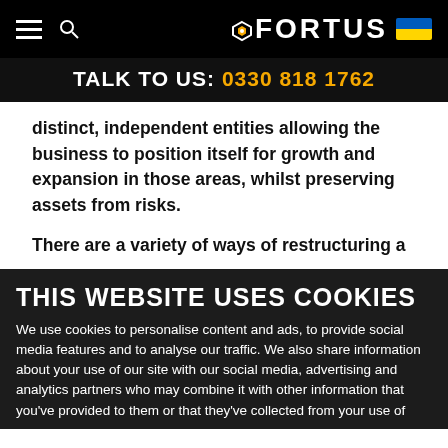FORTUS | TALK TO US: 0330 818 1762
distinct, independent entities allowing the business to position itself for growth and expansion in those areas, whilst preserving assets from risks.
There are a variety of ways of restructuring a
THIS WEBSITE USES COOKIES
We use cookies to personalise content and ads, to provide social media features and to analyse our traffic. We also share information about your use of our site with our social media, advertising and analytics partners who may combine it with other information that you've provided to them or that they've collected from your use of